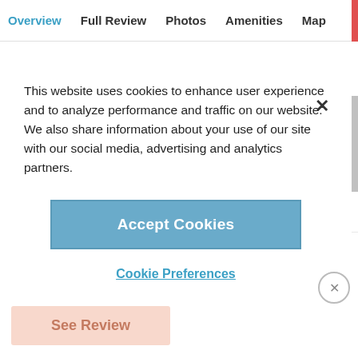Overview  Full Review  Photos  Amenities  Map
This website uses cookies to enhance user experience and to analyze performance and traffic on our website. We also share information about your use of our site with our social media, advertising and analytics partners.
Accept Cookies
Cookie Preferences
But the most dazzling feature is the rooftop infinity pool that seems to drop off...
ADVERTISEMENT
See Review